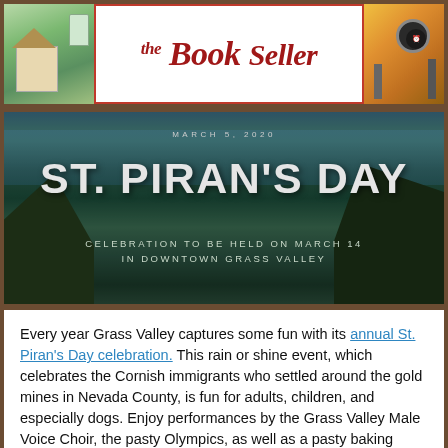[Figure (logo): The Book Seller logo banner with colorful illustrated town scenes on left and right, center text logo in red italic font reading 'the Book Seller' inside a red border]
[Figure (photo): Coastal cliffs scene with ocean in background. Overlay text: date 'MARCH 5, 2020', large title 'ST. PIRAN'S DAY', subtitle 'CELEBRATION TO BE HELD ON MARCH 14 IN DOWNTOWN GRASS VALLEY']
Every year Grass Valley captures some fun with its annual St. Piran's Day celebration. This rain or shine event, which celebrates the Cornish immigrants who settled around the gold mines in Nevada County, is fun for adults, children, and especially dogs. Enjoy performances by the Grass Valley Male Voice Choir, the pasty Olympics, as well as a pasty baking competition. Find out all the information here. While